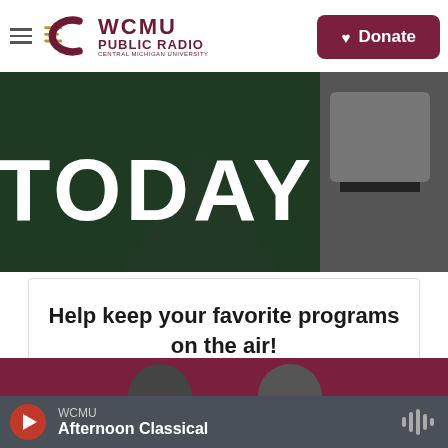WCMU PUBLIC RADIO — Central Michigan University | Donate
[Figure (photo): Hero image showing the word TODAY in large white bold text on a dark green background, with a partial view of a vehicle on the right.]
Help keep your favorite programs on the air!
Donate Your Car!
[Figure (photo): Bottom section teaser image partially visible — dark maroon/purple band with partial circular image elements.]
WCMU — Afternoon Classical